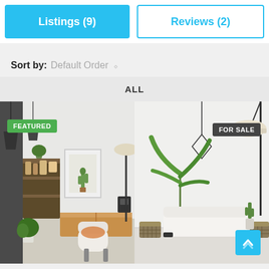Listings (9)
Reviews (2)
Sort by: Default Order
ALL
[Figure (photo): Interior room scene with hanging lamps, shelving with plants and jars, a framed cactus print, a wooden sideboard with a coffee maker, and a white Eames-style chair. FEATURED badge in green top-left.]
[Figure (photo): Minimalist living room with a large potted tropical plant, a geometric pendant light, a white sofa, wicker side tables, a cactus, and a floor lamp. FOR SALE badge in dark grey top-right.]